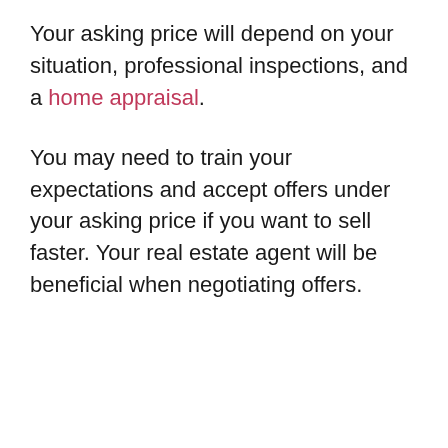Your asking price will depend on your situation, professional inspections, and a home appraisal.
You may need to train your expectations and accept offers under your asking price if you want to sell faster. Your real estate agent will be beneficial when negotiating offers.